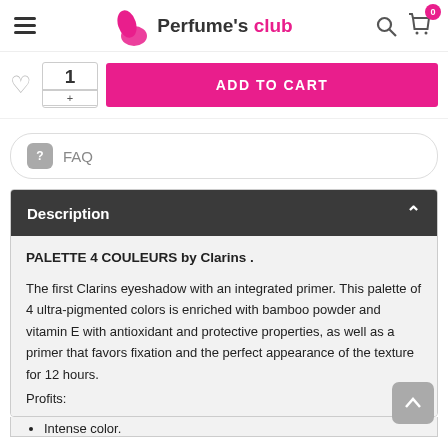Perfume's club
ADD TO CART
FAQ
Description
PALETTE 4 COULEURS by Clarins .
The first Clarins eyeshadow with an integrated primer. This palette of 4 ultra-pigmented colors is enriched with bamboo powder and vitamin E with antioxidant and protective properties, as well as a primer that favors fixation and the perfect appearance of the texture for 12 hours.
Profits:
Intense color.